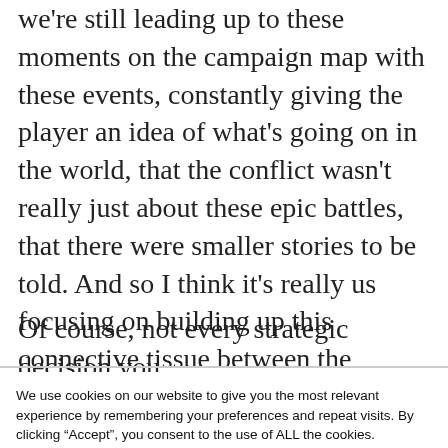we're still leading up to these moments on the campaign map with these events, constantly giving the player an idea of what's going on in the world, that the conflict wasn't really just about these epic battles, that there were smaller stories to be told. And so I think it's really us focusing on building up this connective tissue between the missions."
Of course, not every strategic decision you
We use cookies on our website to give you the most relevant experience by remembering your preferences and repeat visits. By clicking “Accept”, you consent to the use of ALL the cookies.
Do not sell my personal information.